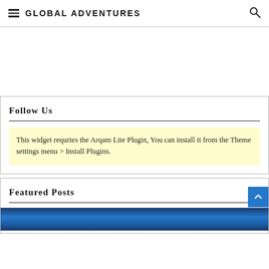GLOBAL ADVENTURES
Follow Us
This widget requries the Arqam Lite Plugin, You can install it from the Theme settings menu > Install Plugins.
Featured Posts
[Figure (photo): Blue ocean/water photo partially visible at the bottom of the page]